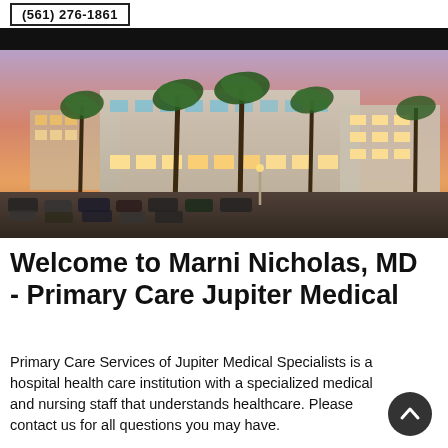(561) 276-1861
[Figure (photo): Exterior photo of Jupiter Medical Center building at dusk/sunset with palm trees and parking lot in foreground, warm purple and orange sky.]
Welcome to Marni Nicholas, MD - Primary Care Jupiter Medical
Primary Care Services of Jupiter Medical Specialists is a hospital health care institution with a specialized medical and nursing staff that understands healthcare. Please contact us for all questions you may have.